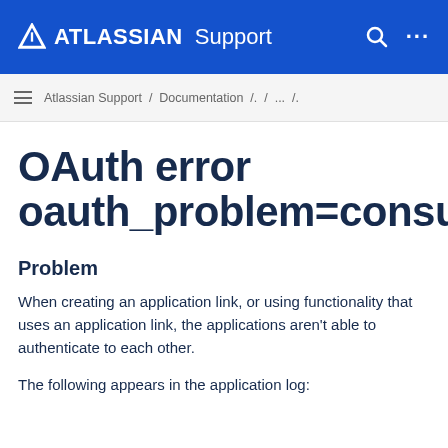ATLASSIAN Support
Atlassian Support / Documentation /. / ... /.
OAuth error oauth_problem=consum
Problem
When creating an application link, or using functionality that uses an application link, the applications aren't able to authenticate to each other.
The following appears in the application log: